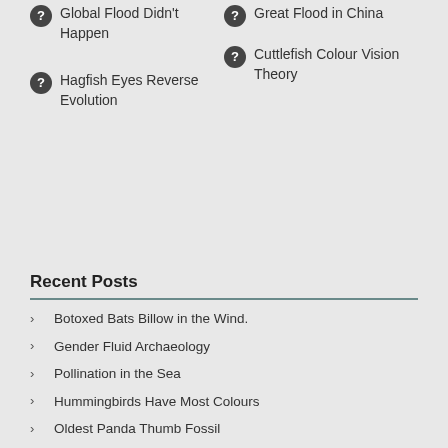Global Flood Didn't Happen
Great Flood in China
Cuttlefish Colour Vision Theory
Hagfish Eyes Reverse Evolution
Recent Posts
Botoxed Bats Billow in the Wind.
Gender Fluid Archaeology
Pollination in the Sea
Hummingbirds Have Most Colours
Oldest Panda Thumb Fossil